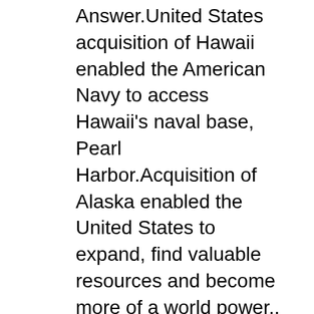Answer.United States acquisition of Hawaii enabled the American Navy to access Hawaii's naval base, Pearl Harbor.Acquisition of Alaska enabled the United States to expand, find valuable resources and become more of a world power.. Did Seward buy Alaska? On March 30, 1867, Secretary of State William H. Seward agreed to purchase Alaska from Russia for $7.2 million. ... At the time, critics thought Seward was crazy and called the deal "Seward's folly." Seward was laughed at for his willingness to spend so much on "Seward's icebox" and Andrew Johnson's "polar bear garden." Does Russia regret selling Alaska? Does Russia regret selling Alaska? Probably, yes. We can emphasize the importance of the purchase of Alaska regarding natural resources. Shortly after the sale of Alaska, rich gold deposits were discovered, and gold hunters from America